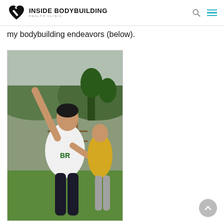INSIDE BODYBUILDING HEALTH CLINIC
my bodybuilding endeavors (below).
[Figure (photo): A young man in a white t-shirt with arm raised pointing upward, standing outdoors on grass with green hills and trees in the background. Another person in a yellow shirt is partially visible behind him.]
Back to top button